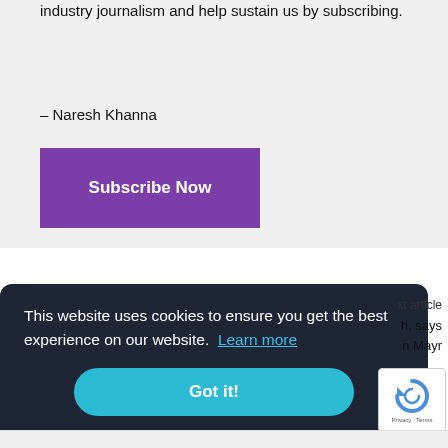industry journalism and help sustain us by subscribing.
– Naresh Khanna
[Figure (other): Purple 'Subscribe Now' button]
This website uses cookies to ensure you get the best experience on our website. Learn more
[Figure (other): Teal 'Got it!' button in cookie consent banner]
xt article
h, says n Mayr
[Figure (logo): reCAPTCHA badge with circular arrow icon and Privacy - Terms text]